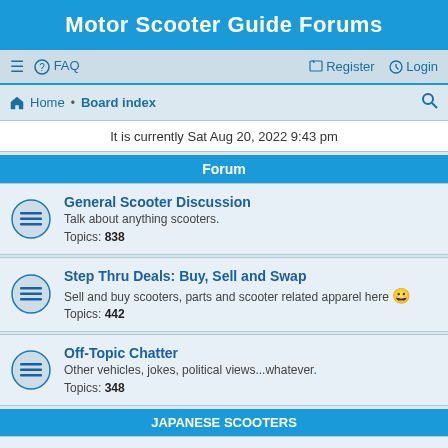Motor Scooter Guide Forums
≡  FAQ    Register   Login
Home · Board index
It is currently Sat Aug 20, 2022 9:43 pm
Forum
General Scooter Discussion
Talk about anything scooters.
Topics: 838
Step Thru Deals: Buy, Sell and Swap
Sell and buy scooters, parts and scooter related apparel here 😀
Topics: 442
Off-Topic Chatter
Other vehicles, jokes, political views...whatever.
Topics: 348
JAPANESE SCOOTERS
Honda Small Scooters (under 110cc)
Aero 50, Aero 80, Elite 50, Elite, Elite SR/LX, Elite 80, Gyro, Spree, Dio, Ruckus, Metro/Jazz and the 108cc Elite
Topics: 961
Honda Large Scooters (125cc+)